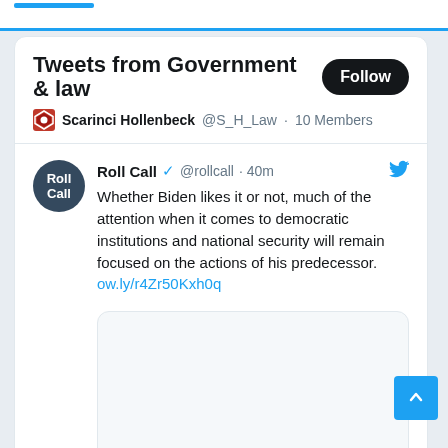Tweets from Government & law
Scarinci Hollenbeck @S_H_Law · 10 Members
Roll Call @rollcall · 40m
Whether Biden likes it or not, much of the attention when it comes to democratic institutions and national security will remain focused on the actions of his predecessor.
ow.ly/r4Zr50Kxh0q
[Figure (screenshot): Empty image preview placeholder box below tweet]